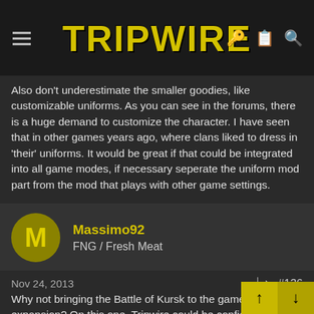Tripwire Interactive
Also don't underestimate the smaller goodies, like customizable uniforms. As you can see in the forums, there is a huge demand to customize the character. I have seen that in other games years ago, where clans liked to dress in 'their' uniforms. It would be great if that could be integrated into all game modes, if necessary seperate the uniform mod part from the mod that plays with other game settings.
Massimo92
FNG / Fresh Meat
Nov 24, 2013  #136
Why not bringing the Battle of Kursk to the game as the next expansion? On this one, Tripwire could be confident to start with a solid foundation due to the fact of having ironed out most bugs that have been affecting the game since release - this has been their main excuse as far as not having enough resources to work on new content - and of having a properly working tanking system within the game